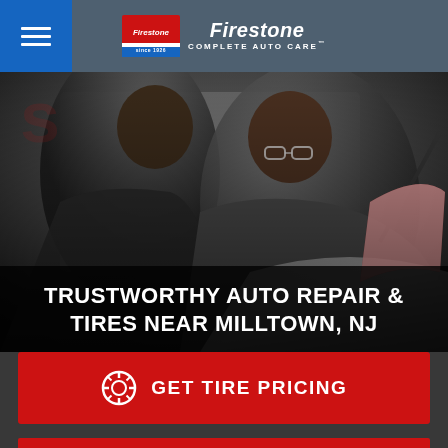Firestone Complete Auto Care
[Figure (photo): Two auto mechanics in grey uniforms looking under the hood of a car in a Firestone service bay. One mechanic is pointing at the engine while the other looks on.]
TRUSTWORTHY AUTO REPAIR & TIRES NEAR MILLTOWN, NJ
GET TIRE PRICING